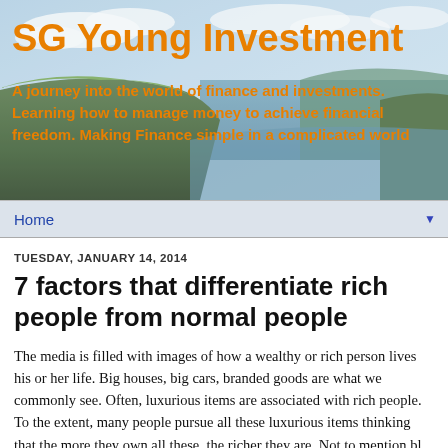[Figure (photo): Coastal cliffs landscape with green hills, rocky cliffs dropping to the ocean, blue sky with clouds in the background — used as header banner background for SG Young Investment blog]
SG Young Investment
A journey into the world of finance and investments. Learning how to manage money to achieve financial freedom. Making Finance simple in a complicated world
Home ▼
TUESDAY, JANUARY 14, 2014
7 factors that differentiate rich people from normal people
The media is filled with images of how a wealthy or rich person lives his or her life. Big houses, big cars, branded goods are what we commonly see. Often, luxurious items are associated with rich people. To the extent, many people pursue all these luxurious items thinking that the more they own all these, the richer they are. Not to mention bl for those from the...